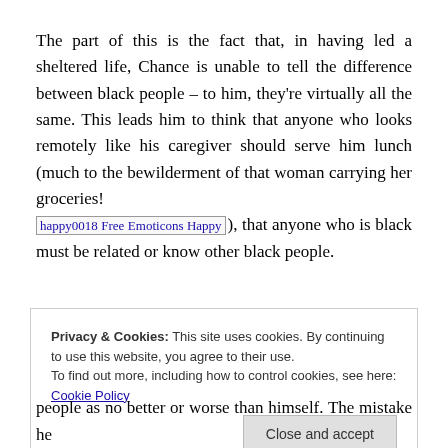The part of this is the fact that, in having led a sheltered life, Chance is unable to tell the difference between black people – to him, they're virtually all the same. This leads him to think that anyone who looks remotely like his caregiver should serve him lunch (much to the bewilderment of that woman carrying her groceries! [happy0018 Free Emoticons Happy]), that anyone who is black must be related or know other black people.
Privacy & Cookies: This site uses cookies. By continuing to use this website, you agree to their use. To find out more, including how to control cookies, see here: Cookie Policy
people as no better or worse than himself. The mistake he